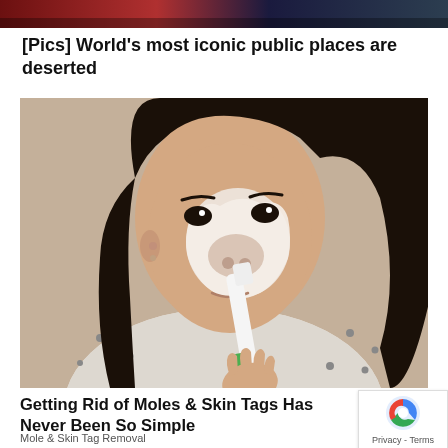[Figure (photo): Top banner image showing a colorful scene (partially visible at top of page)]
[Pics] World's most iconic public places are deserted
[Figure (photo): Woman applying white cream/paste to her nose with a green toothbrush, wearing a polka dot top, with long dark hair]
Getting Rid of Moles & Skin Tags Has Never Been So Simple
Mole & Skin Tag Removal
[Figure (logo): Google reCAPTCHA logo badge with Privacy - Terms text]